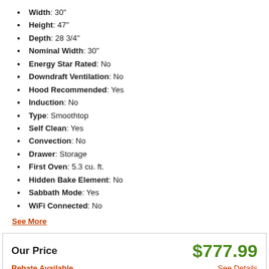Width: 30"
Height: 47"
Depth: 28 3/4"
Nominal Width: 30"
Energy Star Rated: No
Downdraft Ventilation: No
Hood Recommended: Yes
Induction: No
Type: Smoothtop
Self Clean: Yes
Convection: No
Drawer: Storage
First Oven: 5.3 cu. ft.
Hidden Bake Element: No
Sabbath Mode: Yes
WiFi Connected: No
See More
Our Price $777.99 Rebate Available See Details
Enter Zip Code * For delivery options and item availability.